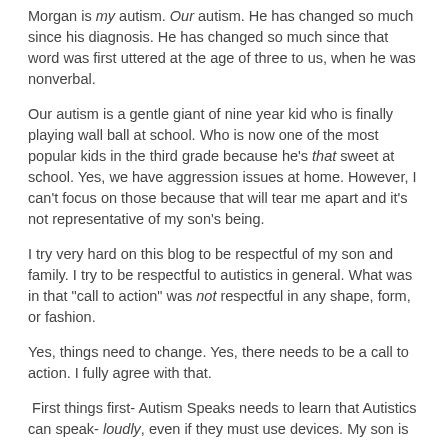Morgan is my autism. Our autism. He has changed so much since his diagnosis. He has changed so much since that word was first uttered at the age of three to us, when he was nonverbal.
Our autism is a gentle giant of nine year kid who is finally playing wall ball at school. Who is now one of the most popular kids in the third grade because he's that sweet at school. Yes, we have aggression issues at home. However, I can't focus on those because that will tear me apart and it's not representative of my son's being.
I try very hard on this blog to be respectful of my son and family. I try to be respectful to autistics in general. What was in that "call to action" was not respectful in any shape, form, or fashion.
Yes, things need to change. Yes, there needs to be a call to action. I fully agree with that.
First things first- Autism Speaks needs to learn that Autistics can speak- loudly, even if they must use devices. My son is